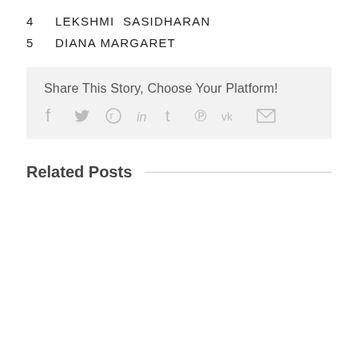4    LEKSHMI  SASIDHARAN
5    DIANA MARGARET
Share This Story, Choose Your Platform!
[Figure (other): Social share icons: facebook, twitter, reddit, linkedin, tumblr, pinterest, vk, email]
Related Posts